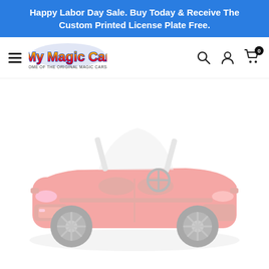Happy Labor Day Sale. Buy Today & Receive The Custom Printed License Plate Free.
[Figure (logo): My Magic Car logo with colorful stylized text and subtitle 'Home of the Original Magic Cars']
[Figure (photo): Red toy ride-on car (convertible style) photographed from a slight angle, faded/washed out appearance, set against white background]